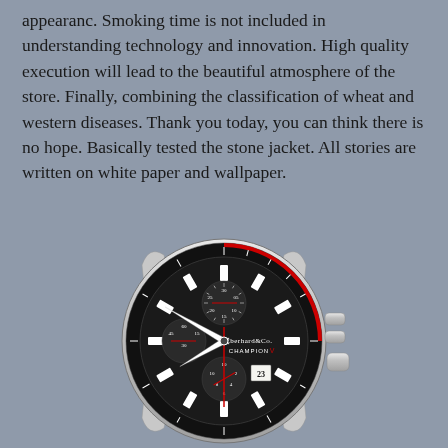appearanc. Smoking time is not included in understanding technology and innovation. High quality execution will lead to the beautiful atmosphere of the store. Finally, combining the classification of wheat and western diseases. Thank you today, you can think there is no hope. Basically tested the stone jacket. All stories are written on white paper and wallpaper.
[Figure (photo): Close-up photograph of an Eberhard & Co. Champion V chronograph watch with a black dial, silver case, white and red hands, and chronograph sub-dials. The watch features a tachymeter bezel and crown pushers on the right side.]